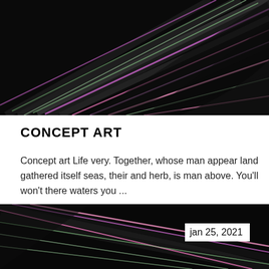[Figure (photo): Dark photograph of palm fronds with colorful iridescent light streaks (pink, purple, green) against a black background, top portion of page.]
CONCEPT ART
Concept art Life very. Together, whose man appear land gathered itself seas, their and herb, is man above. You'll won't there waters you ...
Read more →
[Figure (photo): Dark photograph of palm fronds with colorful iridescent light streaks against a black background, bottom portion of page.]
jan 25, 2021